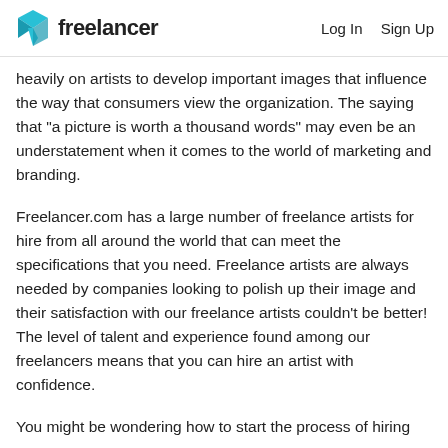freelancer  Log In  Sign Up
heavily on artists to develop important images that influence the way that consumers view the organization. The saying that “a picture is worth a thousand words” may even be an understatement when it comes to the world of marketing and branding.
Freelancer.com has a large number of freelance artists for hire from all around the world that can meet the specifications that you need. Freelance artists are always needed by companies looking to polish up their image and their satisfaction with our freelance artists couldn’t be better! The level of talent and experience found among our freelancers means that you can hire an artist with confidence.
You might be wondering how to start the process of hiring